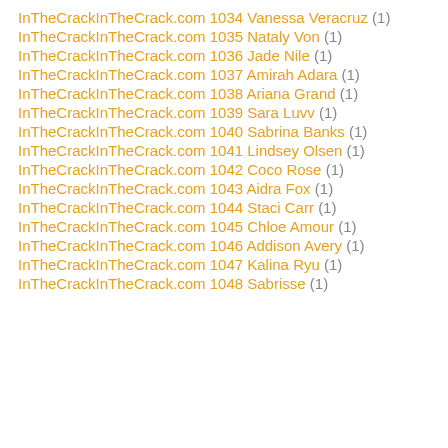InTheCrackInTheCrack.com 1034 Vanessa Veracruz (1)
InTheCrackInTheCrack.com 1035 Nataly Von (1)
InTheCrackInTheCrack.com 1036 Jade Nile (1)
InTheCrackInTheCrack.com 1037 Amirah Adara (1)
InTheCrackInTheCrack.com 1038 Ariana Grand (1)
InTheCrackInTheCrack.com 1039 Sara Luvv (1)
InTheCrackInTheCrack.com 1040 Sabrina Banks (1)
InTheCrackInTheCrack.com 1041 Lindsey Olsen (1)
InTheCrackInTheCrack.com 1042 Coco Rose (1)
InTheCrackInTheCrack.com 1043 Aidra Fox (1)
InTheCrackInTheCrack.com 1044 Staci Carr (1)
InTheCrackInTheCrack.com 1045 Chloe Amour (1)
InTheCrackInTheCrack.com 1046 Addison Avery (1)
InTheCrackInTheCrack.com 1047 Kalina Ryu (1)
InTheCrackInTheCrack.com 1048 Sabrisse (1)